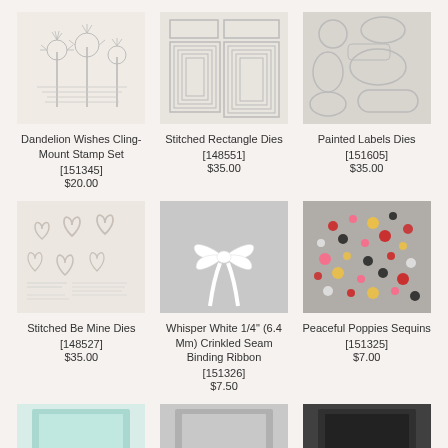[Figure (photo): Dandelion Wishes Cling-Mount Stamp Set product image showing dandelion flower stamps]
Dandelion Wishes Cling-Mount Stamp Set
[151345]
$20.00
[Figure (photo): Stitched Rectangle Dies product image showing nested rectangle die cuts]
Stitched Rectangle Dies
[148551]
$35.00
[Figure (photo): Painted Labels Dies product image showing various label and oval die cut shapes]
Painted Labels Dies
[151605]
$35.00
[Figure (photo): Stitched Be Mine Dies product image showing heart shaped dies on cream background]
Stitched Be Mine Dies
[148527]
$35.00
[Figure (photo): Whisper White 1/4 inch Crinkled Seam Binding Ribbon product image showing white ribbon tied in a bow]
Whisper White 1/4" (6.4 Mm) Crinkled Seam Binding Ribbon
[151326]
$7.50
[Figure (photo): Peaceful Poppies Sequins product image showing colorful sequins in red, pink, gold, black and clear]
Peaceful Poppies Sequins
[151325]
$7.00
[Figure (photo): Partially visible product image at bottom left showing light teal/mint colored item]
[Figure (photo): Partially visible product image at bottom center showing grey colored item]
[Figure (photo): Partially visible product image at bottom right showing dark/black colored item]